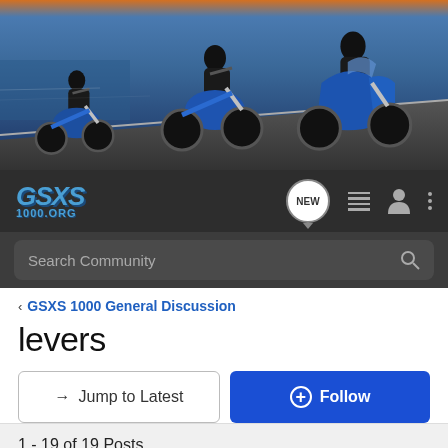[Figure (screenshot): Website banner with motorcycles racing on a road, blue and orange color scheme]
[Figure (screenshot): Navigation bar with GSXS 1000.ORG logo, NEW badge, menu icons, person icon, and dots menu]
[Figure (screenshot): Dark search bar with 'Search Community' placeholder text and search icon]
GSXS 1000 General Discussion
levers
→ Jump to Latest
+ Follow
1 - 19 of 19 Posts
gixxerboy09 · Registered
Joined Jun 7, 2015 · 63 Posts